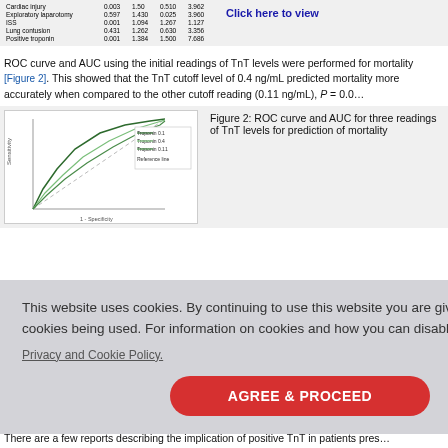|  |  |  |  |  |
| --- | --- | --- | --- | --- |
| Cardiac injury | 0.003 | 1.50 | 0.510 | 3.962 |
| Exploratory laparotomy | 0.597 | 1.430 | 0.025 | 3.960 |
| ISS | 0.001 | 1.094 | 1.267 | 1.127 |
| Lung contusion | 0.431 | 1.262 | 0.630 | 3.356 |
| Positive troponin | 0.001 | 1.384 | 1.500 | 7.686 |
Click here to view
ROC curve and AUC using the initial readings of TnT levels were performed for mortality [Figure 2]. This showed that the TnT cutoff level of 0.4 ng/mL predicted mortality more accurately when compared to the other cutoff reading (0.11 ng/mL), P = 0.0...
[Figure (continuous-plot): ROC curve chart showing sensitivity vs 1-specificity for three TnT cutoff levels, with a diagonal reference line and legend for troponin cutoffs.]
Figure 2: ROC curve and AUC for three readings of TnT levels for prediction of mortality
This website uses cookies. By continuing to use this website you are giving consent to cookies being used. For information on cookies and how you can disable them visit our
Privacy and Cookie Policy.
AGREE & PROCEED
There are a few reports describing the implication of positive TnT in patients presenting with...